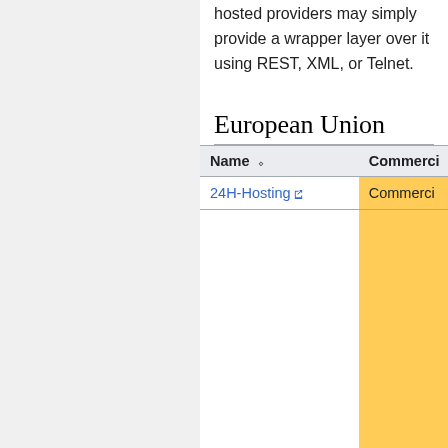hosted providers may simply provide a wrapper layer over it using REST, XML, or Telnet.
European Union
| Name | Commercial |
| --- | --- |
| 24H-Hosting | Commercial |
| CheapMumble.com | Commercial |